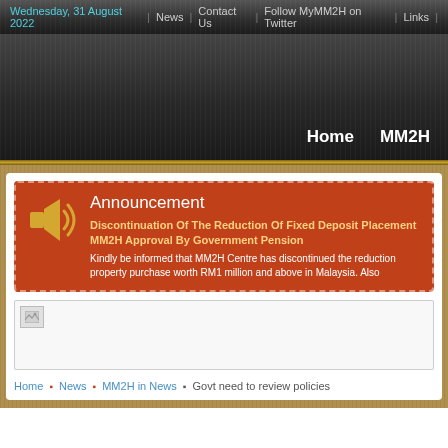Wednesday, 31 August 2022 | News | Contact Us | Follow MyMM2H on Twitter | Links |
[Figure (screenshot): Website banner/logo area with dark striped background showing navigation items Home and MM2H]
Announcement
Discontinuation Of The Reduction Of Fixed Deposit Placement MM2H Approval By Government Pension
Kindly be informed that MM2H Centre has discontinued the reduction property purchase worth RM1 million and above in Malaysia. Also
[Figure (photo): Broken image placeholder]
Home • News • MM2H in News • Govt need to review policies